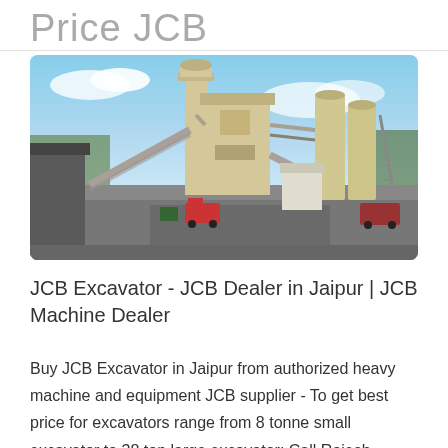Price JCB
[Figure (photo): Industrial plant facility with large silos, conveyor belts, and heavy equipment on a paved yard under a blue sky. Yellow/cream colored industrial structures dominate the scene with vehicles visible.]
JCB Excavator - JCB Dealer in Jaipur | JCB Machine Dealer
Buy JCB Excavator in Jaipur from authorized heavy machine and equipment JCB supplier - To get best price for excavators range from 8 tonne small excavator to 38 ton large excavator; Call Rajesh Motors JCB for digger